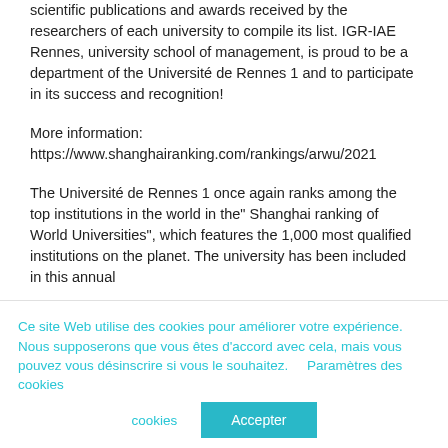scientific publications and awards received by the researchers of each university to compile its list. IGR-IAE Rennes, university school of management, is proud to be a department of the Université de Rennes 1 and to participate in its success and recognition!
More information:
https://www.shanghairanking.com/rankings/arwu/2021
The Université de Rennes 1 once again ranks among the top institutions in the world in the" Shanghai ranking of World Universities", which features the 1,000 most qualified institutions on the planet. The university has been included in this annual...
Ce site Web utilise des cookies pour améliorer votre expérience. Nous supposerons que vous êtes d'accord avec cela, mais vous pouvez vous désinscrire si vous le souhaitez.    Paramètres des cookies
Accepter